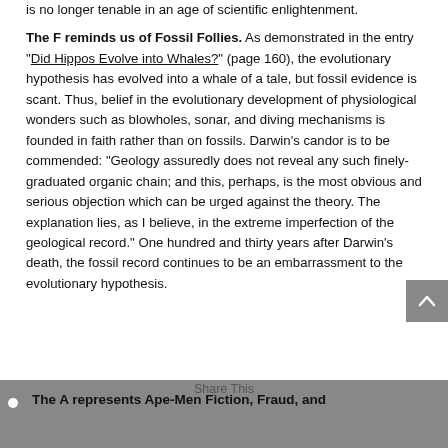is no longer tenable in an age of scientific enlightenment.
The F reminds us of Fossil Follies. As demonstrated in the entry “Did Hippos Evolve into Whales?” (page 160), the evolutionary hypothesis has evolved into a whale of a tale, but fossil evidence is scant. Thus, belief in the evolutionary development of physiological wonders such as blowholes, sonar, and diving mechanisms is founded in faith rather than on fossils. Darwin’s candor is to be commended: “Geology assuredly does not reveal any such finely-graduated organic chain; and this, perhaps, is the most obvious and serious objection which can be urged against the theory. The explanation lies, as I believe, in the extreme imperfection of the geological record.” One hundred and thirty years after Darwin’s death, the fossil record continues to be an embarrassment to the evolutionary hypothesis.
The A represents Ape-Men Fiction, Fraud, and